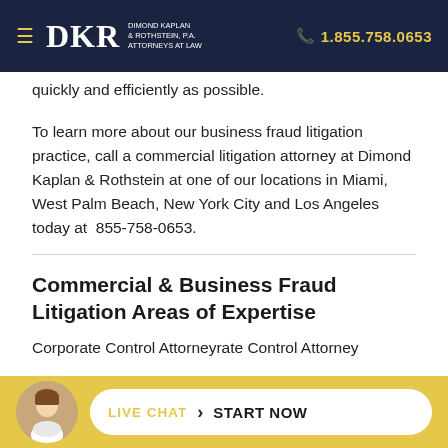DKR DIMOND KAPLAN & ROTHSTEIN, P.A. ATTORNEYS AT LAW | 1.855.758.0653
quickly and efficiently as possible.
To learn more about our business fraud litigation practice, call a commercial litigation attorney at Dimond Kaplan & Rothstein at one of our locations in Miami, West Palm Beach, New York City and Los Angeles today at  855-758-0653.
Commercial & Business Fraud Litigation Areas of Expertise
Corporate Control Attorney